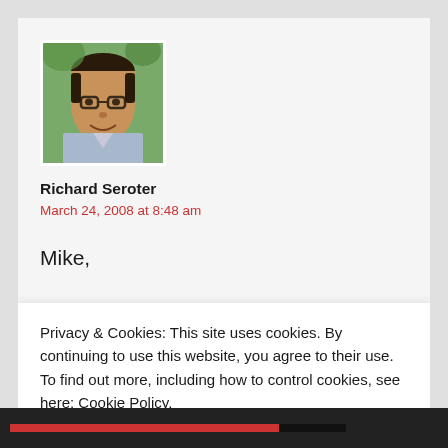[Figure (photo): Profile photo of Richard Seroter, a man with glasses outdoors]
Richard Seroter
March 24, 2008 at 8:48 am
Mike,

Great additions. The best part is that even if someone comes across this post when preparing
Privacy & Cookies: This site uses cookies. By continuing to use this website, you agree to their use.
To find out more, including how to control cookies, see here: Cookie Policy
CLOSE AND ACCEPT